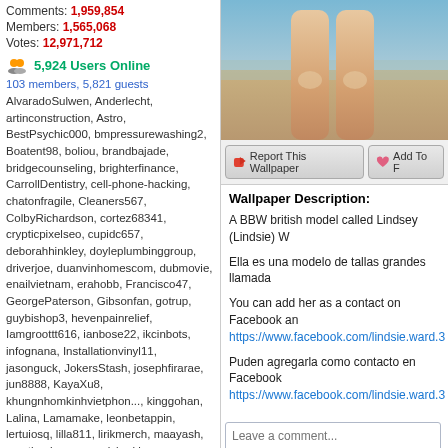Comments: 1,959,854
Members: 1,565,068
Votes: 12,971,712
5,924 Users Online
103 members, 5,821 guests
AlvaradoSulwen, Anderlecht, artinconstruction, Astro, BestPsychic000, bmpressurewashing2, Boatent98, boliou, brandbajade, bridgecounseling, brighterfinance, CarrollDentistry, cell-phone-hacking, chatonfragile, Cleaners567, ColbyRichardson, cortez68341, crypticpixelseo, cupidc657, deborahhinkley, doyleplumbinggroup, driverjoe, duanvinhomescom, dubmovie, enailvietnam, erahobb, Francisco47, GeorgePaterson, Gibsonfan, gotrup, guybishop3, hevenpainrelief, Iamgroottt616, ianbose22, ikcinbots, infognana, Installationvinyl11, jasonguck, JokersStash, josephfirarae, jun8888, KayaXu8, khungnhomkinhvietphon..., kinggohan, Lalina, Lamamake, leonbetappin, lertuiosq, lilla811, lirikmerch, maayash, macthanhvu, marquisbarkley, mayapatil281995, McKinneysTX, mikepaxson, missshweta, mistydaydream1, mod.CG, modzoro, mumtazdental, now888today, phaesic777
[Figure (photo): Beach photo showing legs of a woman, sandy beach background]
Report This Wallpaper
Add To F
Wallpaper Description:
A BBW british model called Lindsey (Lindsie) W
Ella es una modelo de tallas grandes llamada
You can add her as a contact on Facebook an https://www.facebook.com/lindsie.ward.3
Puden agregarla como contacto en Facebook https://www.facebook.com/lindsie.ward.3
Leave a comment...
This wallpaper has no comm